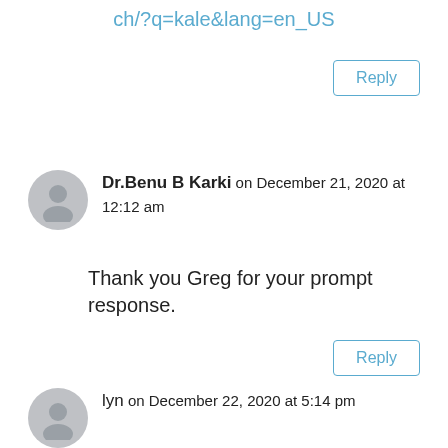ch/?q=kale&lang=en_US
Reply
Dr.Benu B Karki on December 21, 2020 at 12:12 am
Thank you Greg for your prompt response.
Reply
lyn on December 22, 2020 at 5:14 pm
I can’t grow kale long term. Kale I’ve grown past winter, gets covered with aphids and ants. It seriously creeps